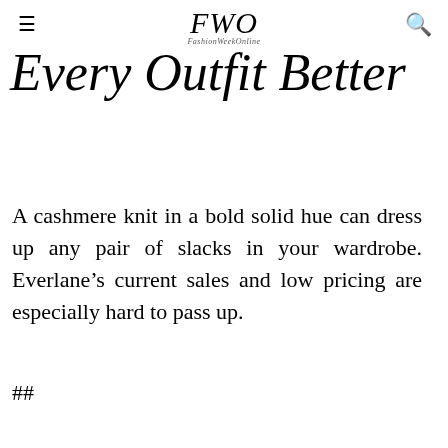FWO FashionWeekOnline
Every Outfit Better
A cashmere knit in a bold solid hue can dress up any pair of slacks in your wardrobe. Everlane’s current sales and low pricing are especially hard to pass up.
##